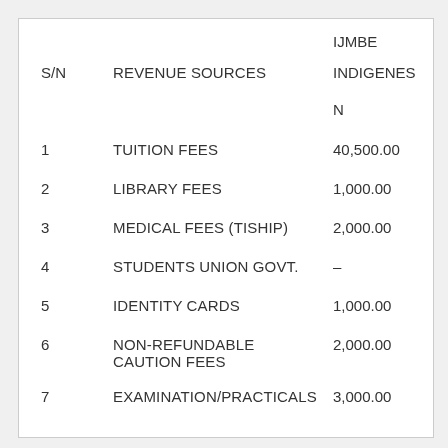| S/N | REVENUE SOURCES | IJMBE INDIGENES N |
| --- | --- | --- |
| 1 | TUITION FEES | 40,500.00 |
| 2 | LIBRARY FEES | 1,000.00 |
| 3 | MEDICAL FEES (TISHIP) | 2,000.00 |
| 4 | STUDENTS UNION GOVT. | – |
| 5 | IDENTITY CARDS | 1,000.00 |
| 6 | NON-REFUNDABLE CAUTION FEES | 2,000.00 |
| 7 | EXAMINATION/PRACTICALS | 3,000.00 |